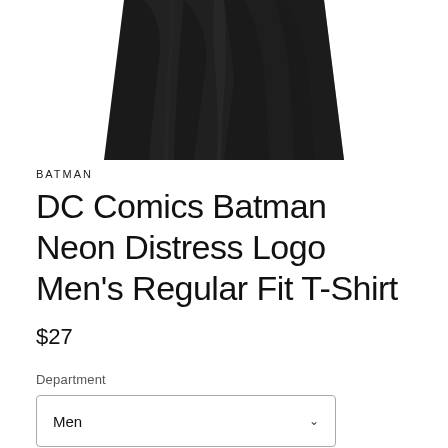[Figure (photo): Black folded t-shirt product photo, cropped showing upper portion of garment against white background]
BATMAN
DC Comics Batman Neon Distress Logo Men's Regular Fit T-Shirt
$27
Department
Men
Style